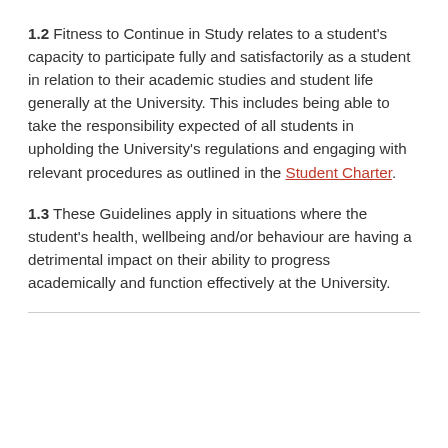1.2 Fitness to Continue in Study relates to a student's capacity to participate fully and satisfactorily as a student in relation to their academic studies and student life generally at the University. This includes being able to take the responsibility expected of all students in upholding the University's regulations and engaging with relevant procedures as outlined in the Student Charter.
1.3 These Guidelines apply in situations where the student's health, wellbeing and/or behaviour are having a detrimental impact on their ability to progress academically and function effectively at the University.